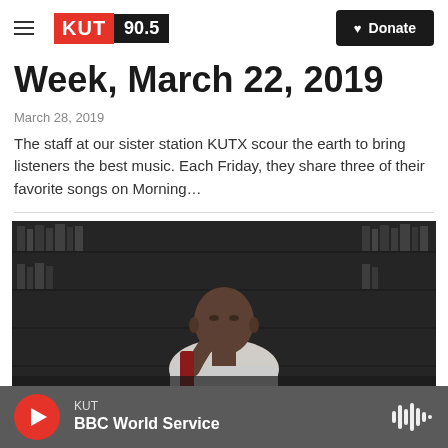KUT 90.5 — Donate
Week, March 22, 2019
March 28, 2019
The staff at our sister station KUTX scour the earth to bring listeners the best music. Each Friday, they share three of their favorite songs on Morning…
[Figure (photo): Dark portrait photo of a young man in a white t-shirt, seated, resting chin on hand, with bookshelves in the background]
KUT — BBC World Service (audio player bar)